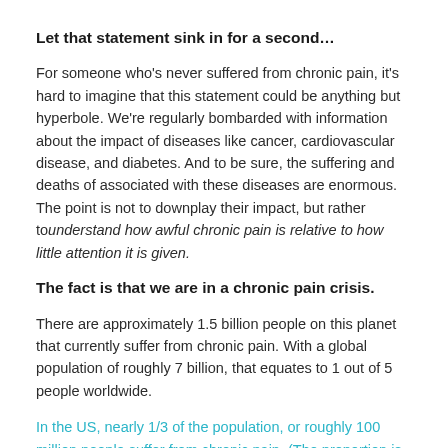Let that statement sink in for a second…
For someone who's never suffered from chronic pain, it's hard to imagine that this statement could be anything but hyperbole. We're regularly bombarded with information about the impact of diseases like cancer, cardiovascular disease, and diabetes. And to be sure, the suffering and deaths of associated with these diseases are enormous. The point is not to downplay their impact, but rather tounderstand how awful chronic pain is relative to how little attention it is given.
The fact is that we are in a chronic pain crisis.
There are approximately 1.5 billion people on this planet that currently suffer from chronic pain. With a global population of roughly 7 billion, that equates to 1 out of 5 people worldwide.
In the US, nearly 1/3 of the population, or roughly 100 million people suffer from chronic pain. (The proportion is